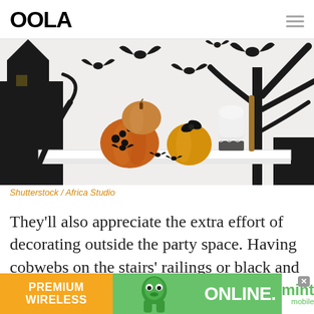OOLA
[Figure (photo): Halloween decoration scene with pumpkins, bats, and spooky silhouettes on a white shelf/mantle against a white wall with black paper cut bat and tree decorations]
Shutterstock / Africa Studio
They’ll also appreciate the extra effort of decorating outside the party space. Having cobwebs on the stairs’ railings or black and
[Figure (other): Advertisement banner: PREMIUM WIRELESS | character mascot | ONLINE. | mint mobile logo]